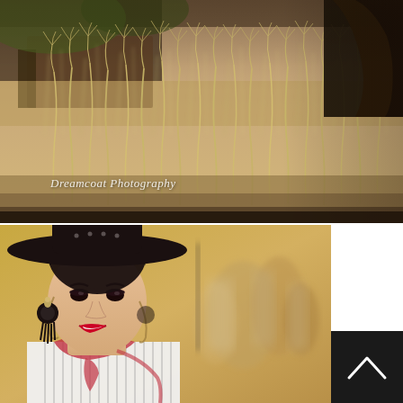[Figure (photo): Outdoor nature photograph showing tall dry golden grass/reeds in warm sepia-toned light, with trees and a wooden structure blurred in background. Upper right corner shows a dark gloved hand. Watermark reads 'Dreamcoat Photography' in italic script.]
[Figure (photo): Portrait photograph of a young woman wearing a wide-brimmed black hat with small pearl/stud embellishments, large black tassel earrings, red lipstick, dark eye makeup, and a striped white blouse with a colorful scarf. She is smiling. Background shows blurred crowd of people in outdoor setting.]
[Figure (other): Dark navigation scroll-up button with a white chevron/caret arrow pointing upward, positioned in bottom-right corner.]